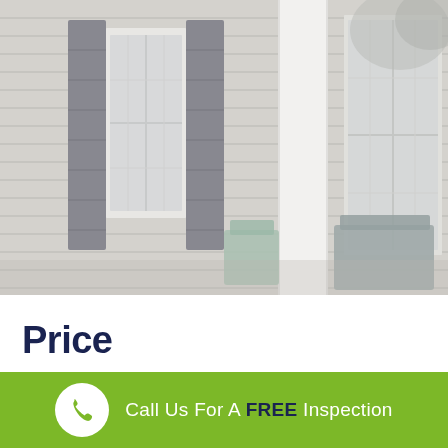[Figure (photo): Exterior of a house showing white siding, dark shutters, windows, a white column on a porch, and covered porch furniture]
Price
Call Us For A FREE Inspection